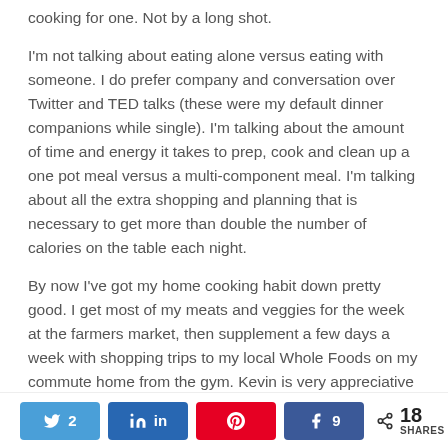cooking for one. Not by a long shot.
I'm not talking about eating alone versus eating with someone. I do prefer company and conversation over Twitter and TED talks (these were my default dinner companions while single). I'm talking about the amount of time and energy it takes to prep, cook and clean up a one pot meal versus a multi-component meal. I'm talking about all the extra shopping and planning that is necessary to get more than double the number of calories on the table each night.
By now I've got my home cooking habit down pretty good. I get most of my meats and veggies for the week at the farmers market, then supplement a few days a week with shopping trips to my local Whole Foods on my commute home from the gym. Kevin is very appreciative